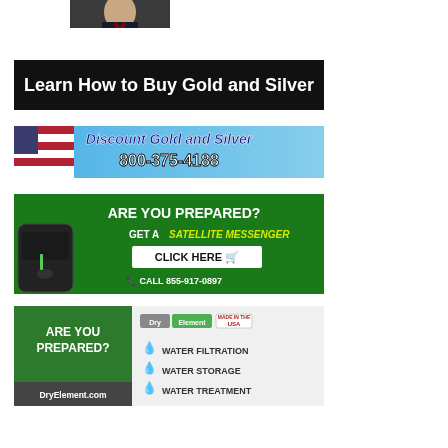[Figure (photo): Portrait photo of a man in a dark suit with a red tie, cropped at the chest/shoulders]
[Figure (infographic): Black banner ad reading 'Learn How to Buy Gold and Silver' in white text]
[Figure (infographic): Blue banner ad for 'Discount Gold and Silver' with phone number 800-375-4188, featuring an American flag background]
[Figure (infographic): Green banner ad reading 'ARE YOU PREPARED? GET A SATELLITE MESSENGER' with 'CLICK HERE' button and 'CALL 855-917-0897']
[Figure (infographic): Two-part ad: left green section 'ARE YOU PREPARED? DryElement.com'; right section showing Dry Element USA brand with WATER FILTRATION, WATER STORAGE, WATER TREATMENT items with blue water drops]